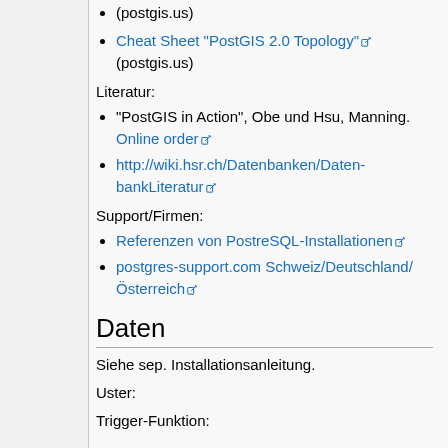(postgis.us)
Cheat Sheet "PostGIS 2.0 Topology" (postgis.us)
Literatur:
"PostGIS in Action", Obe und Hsu, Manning. Online order
http://wiki.hsr.ch/Datenbanken/DatenbankLiteratur
Support/Firmen:
Referenzen von PostreSQL-Installationen
postgres-support.com Schweiz/Deutschland/Österreich
Daten
Siehe sep. Installationsanleitung.
Uster:
Trigger-Funktion: